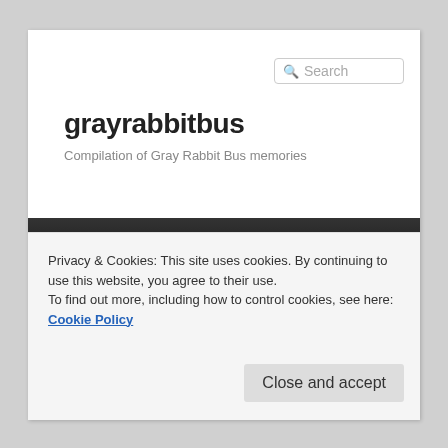[Figure (screenshot): Search box in the top right of the website header]
grayrabbitbus
Compilation of Gray Rabbit Bus memories
Home   About
← Previous
Privacy & Cookies: This site uses cookies. By continuing to use this website, you agree to their use.
To find out more, including how to control cookies, see here: Cookie Policy
Close and accept